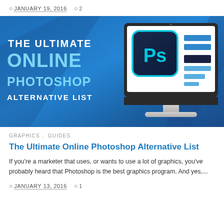JANUARY 19, 2016  2
[Figure (illustration): Banner image for 'The Ultimate Online Photoshop Alternative List' blog post. Blue gradient background with white and light blue bold text on the left reading 'THE ULTIMATE ONLINE PHOTOSHOP ALTERNATIVE LIST'. On the right, an illustrated iMac monitor displaying a Photoshop 'Ps' icon and horizontal blue/dark bars.]
GRAPHICS ,  GUIDES
The Ultimate Online Photoshop Alternative List
If you're a marketer that uses, or wants to use a lot of graphics, you've probably heard that Photoshop is the best graphics program. And yes,...
JANUARY 13, 2016  1